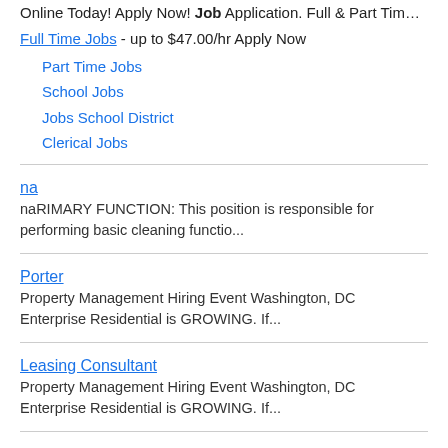Hiring Full & Part Time School District Positions! Apply Online Today! Apply Now! Job Application. Full & Part Tim…
Full Time Jobs - up to $47.00/hr Apply Now
Part Time Jobs
School Jobs
Jobs School District
Clerical Jobs
na
naRIMARY FUNCTION: This position is responsible for performing basic cleaning functio...
Porter
Property Management Hiring Event Washington, DC Enterprise Residential is GROWING. If...
Leasing Consultant
Property Management Hiring Event Washington, DC Enterprise Residential is GROWING. If...
Lobby Security Officer - Evening Weekends